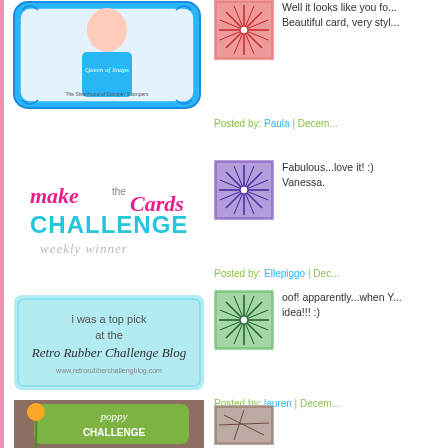[Figure (illustration): Queen of Snaps badge - woman in blue with decorative border]
[Figure (illustration): Small red/pink starburst pattern thumbnail]
Well it looks like you fo... Beautiful card, very styl...
Posted by: Paula | Decem...
[Figure (illustration): Make the Cards Challenge Weekly Winner badge - pink and teal lettering]
[Figure (illustration): Blue/purple starburst pattern thumbnail]
Fabulous...love it! :) Vanessa.
Posted by: Ellepiggo | Dec...
[Figure (illustration): I was a top pick at the Retro Rubber Challenge Blog badge - light blue]
[Figure (illustration): Green starburst pattern thumbnail]
oof! apparently...when Y... idea!!! :)
Posted by: lauren | Decem...
[Figure (illustration): Poppy Challenge badge - green with orange poppy flower]
[Figure (illustration): Gray/brown pattern thumbnail (partial)]